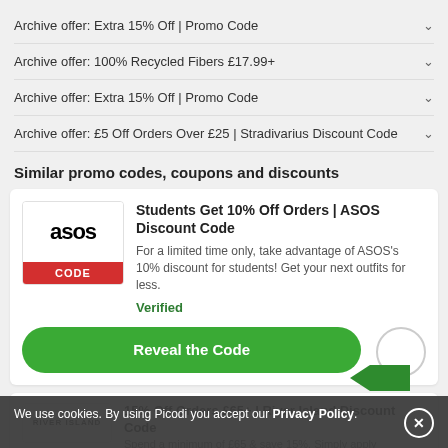Archive offer: Extra 15% Off | Promo Code
Archive offer: 100% Recycled Fibers £17.99+
Archive offer: Extra 15% Off | Promo Code
Archive offer: £5 Off Orders Over £25 | Stradivarius Discount Code
Similar promo codes, coupons and discounts
[Figure (logo): ASOS logo with red CODE label]
Students Get 10% Off Orders | ASOS Discount Code
For a limited time only, take advantage of ASOS's 10% discount for students! Get your next outfits for less.
Verified
Reveal the Code
15% Off Orders £65+ | River Island Discount Code
Spend a minimum of £65 & save 15%. Simply apply
We use cookies. By using Picodi you accept our Privacy Policy.